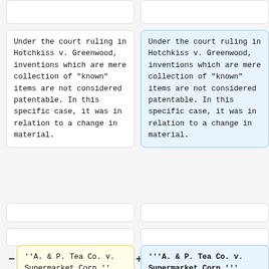Under the court ruling in Hotchkiss v. Greenwood, inventions which are mere collection of "known" items are not considered patentable. In this specific case, it was in relation to a change in material.
Under the court ruling in Hotchkiss v. Greenwood, inventions which are mere collection of "known" items are not considered patentable. In this specific case, it was in relation to a change in material.
''A. & P. Tea Co. v. Supermarket Corp.''
'''A. & P. Tea Co. v. Supermarket Corp.'''
Under the court ruling in A. & P. Tea Co...
Under the court ruling in A. & P. Tea Co...